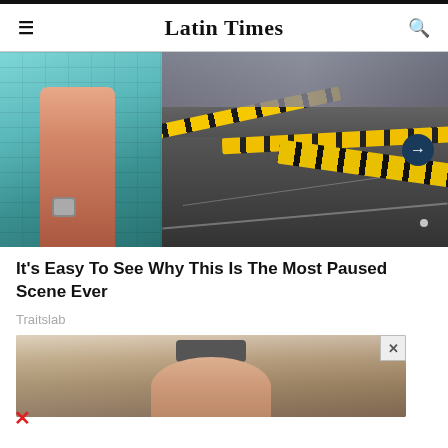Latin Times
[Figure (photo): Split image: left side shows a person's hand with handcuffs against a teal/blue brick wall; right side shows a crime scene with yellow police tape over a dark asphalt road with bystanders in the background and a navigation arrow overlay]
It's Easy To See Why This Is The Most Paused Scene Ever
Traitslab
[Figure (photo): Advertisement image showing a woman inside a car, viewed from dashboard perspective with rearview mirror visible]
X